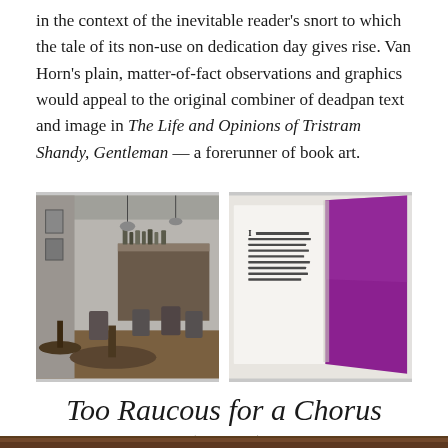in the context of the inevitable reader's snort to which the tale of its non-use on dedication day gives rise. Van Horn's plain, matter-of-fact observations and graphics would appeal to the original combiner of deadpan text and image in The Life and Opinions of Tristram Shandy, Gentleman — a forerunner of book art.
[Figure (photo): Black and white photograph of an interior room with wooden tables, chairs, and bar-like furnishings]
[Figure (photo): Open artist's book showing a white text page with small printed text beside a vivid purple/magenta page]
Too Raucous for a Chorus (2018)
[Figure (photo): Partial view of another image at the bottom of the page, brownish tones]